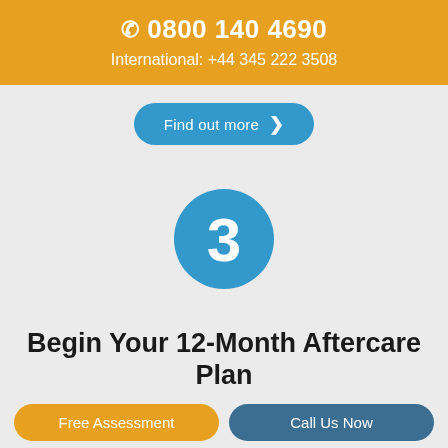📞 0800 140 4690
International: +44 345 222 3508
[Figure (infographic): Blue 'Find out more' button with right arrow chevron]
[Figure (infographic): Blue circle with white number 3 inside, representing step 3]
Begin Your 12-Month Aftercare Plan
Once rehab ends and you return home, you then receive treatment on an outpatient-basis. This is known as "aftercare", and this helps you maintain
Free Assessment    Call Us Now